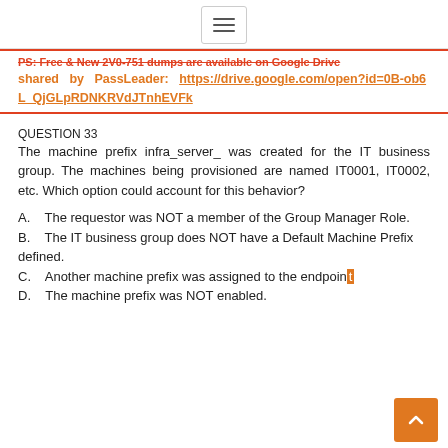[Figure (other): Hamburger menu icon button]
PS: Free & New 2V0-751 dumps are available on Google Drive shared by PassLeader: https://drive.google.com/open?id=0B-ob6L_QjGLpRDNKRVdJTnhEVFk
QUESTION 33
The machine prefix infra_server_ was created for the IT business group. The machines being provisioned are named IT0001, IT0002, etc. Which option could account for this behavior?
A.    The requestor was NOT a member of the Group Manager Role.
B.    The IT business group does NOT have a Default Machine Prefix defined.
C.    Another machine prefix was assigned to the endpoint
D.    The machine prefix was NOT enabled.